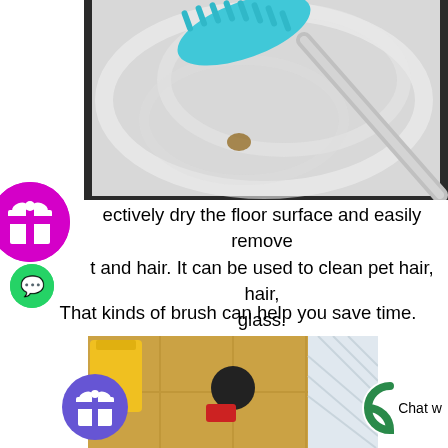[Figure (photo): A blue silicone brush/squeegee cleaning a soapy window or glass surface, with a metal pole handle]
ectively dry the floor surface and easily remove t and hair. It can be used to clean pet hair, hair, glass.
That kinds of brush can help you save time.
[Figure (photo): A floor cleaning scene with a dark brush on a wet tiled floor, yellow bucket visible]
[Figure (infographic): Purple circular gift/reward badge icon]
[Figure (infographic): WhatsApp green circular icon]
[Figure (logo): Green circular Chat logo with letter C and Chat w text]